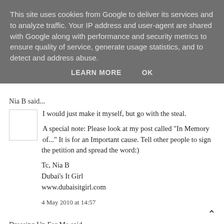This site uses cookies from Google to deliver its services and to analyze traffic. Your IP address and user-agent are shared with Google along with performance and security metrics to ensure quality of service, generate usage statistics, and to detect and address abuse.
LEARN MORE    OK
Nia B said...
I would just make it myself, but go with the steal.
A special note: Please look at my post called "In Memory of..." It is for an Important cause. Tell other people to sign the petition and spread the word:)
Tc, Nia B
Dubai's It Girl
www.dubaisitgirl.com
4 May 2010 at 14:57
Dressing Up For Me said...
Oh my, the 2 skirts are almost similar! Although one can be much cheaper, I'll definitely look into construction and quality up close.